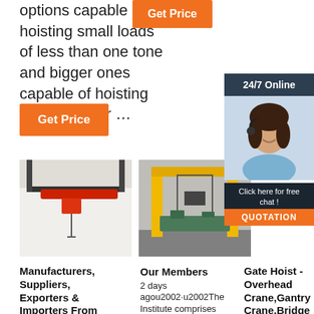options capable of hoisting small loads of less than one tone and bigger ones capable of hoisting loads heavier …
[Figure (other): Orange Get Price button (top right)]
[Figure (other): Orange Get Price button (left, mid page)]
[Figure (photo): Red overhead crane in white industrial building]
[Figure (photo): Yellow gantry crane in warehouse with industrial machinery]
[Figure (other): 24/7 Online chat widget with woman wearing headset, Click here for free chat, QUOTATION button]
Manufacturers, Suppliers, Exporters & Importers From
Our Members
2 days agou2002·u2002The Institute comprises 33 Full and 14
Gate Hoist - Overhead Crane,Gantry Crane,Bridge